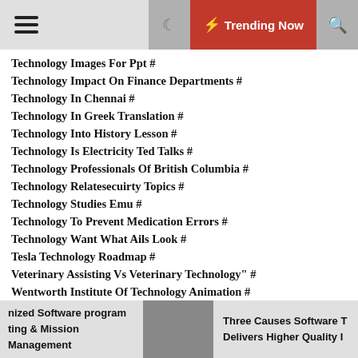☰ 🌙 ⚡ Trending Now 🔍
Technology Images For Ppt #
Technology Impact On Finance Departments #
Technology In Chennai #
Technology In Greek Translation #
Technology Into History Lesson #
Technology Is Electricity Ted Talks #
Technology Professionals Of British Columbia #
Technology Relatesecuirty Topics #
Technology Studies Emu #
Technology To Prevent Medication Errors #
Technology Want What Ails Look #
Tesla Technology Roadmap #
Veterinary Assisting Vs Veterinary Technology" #
Wentworth Institute Of Technology Animation #
What Is Today'S Technology #
With The Arise Of Technology
nized Software program | ting & Mission Management | Three Causes Software T Delivers Higher Quality I